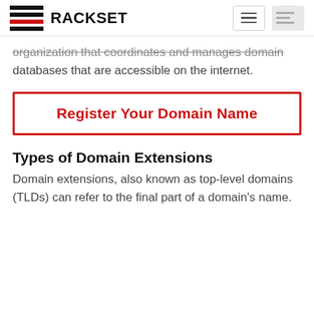RACKSET
organization that coordinates and manages domain databases that are accessible on the internet.
Register Your Domain Name
Types of Domain Extensions
Domain extensions, also known as top-level domains (TLDs) can refer to the final part of a domain's name.